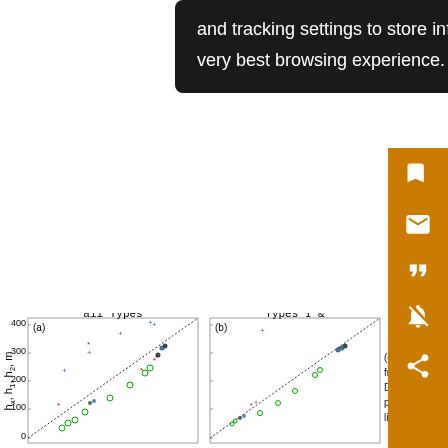and tracking settings to store information that help give you the very best browsing experience.
[Figure (scatter-plot): Scatter plot (a) showing hx, h1, h2 in metres for all Types, with dotted 1:1 line]
[Figure (scatter-plot): Scatter plot (b) showing hx, h1, h2 in metres for Types I & (cropped), with dotted 1:1 line]
(c), from Dot pan line